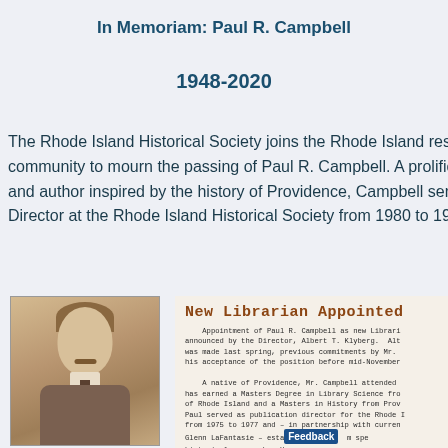In Memoriam: Paul R. Campbell
1948-2020
The Rhode Island Historical Society joins the Rhode Island research community to mourn the passing of Paul R. Campbell. A prolific and author inspired by the history of Providence, Campbell served as Director at the Rhode Island Historical Society from 1980 to 19...
[Figure (photo): Black and white portrait photo of Paul R. Campbell, a man with a mustache wearing a suit and tie]
New Librarian Appointed
Appointment of Paul R. Campbell as new Librarian announced by the Director, Albert T. Klyberg. Although was made last spring, previous commitments by Mr. his acceptance of the position before mid-November.

A native of Providence, Mr. Campbell attended has earned a Masters Degree in Library Science from of Rhode Island and a Masters in History from Providence. Paul served as publication director for the Rhode Island from 1975 to 1977 and - in partnership with current Glenn LaFantasie - established an special historical research. He as an Vincent A. Cianci, Jr.